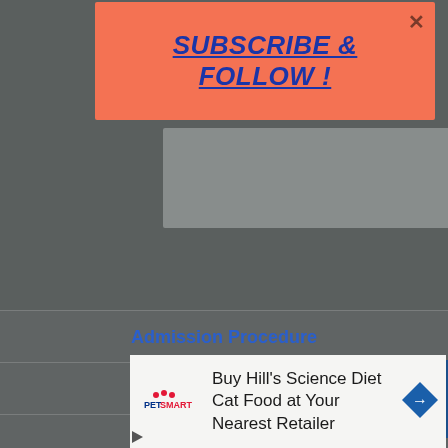SUBSCRIBE & FOLLOW !
Admission Procedure
Who Can Apply?
Age Criteria
Seat Reservation
[Figure (screenshot): PetSmart advertisement banner: Buy Hill's Science Diet Cat Food at Your Nearest Retailer]